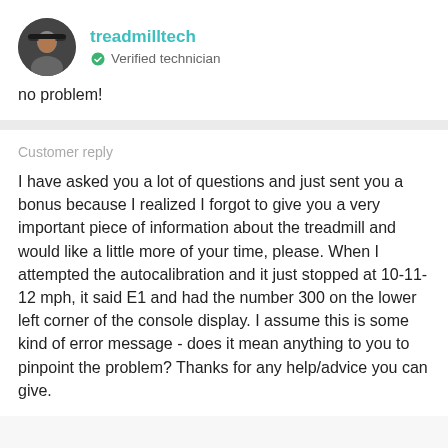[Figure (photo): Circular avatar photo of a person wearing a cap, used as profile picture for treadmilltech]
treadmilltech
✓ Verified technician
no problem!
Customer reply
I have asked you a lot of questions and just sent you a bonus because I realized I forgot to give you a very important piece of information about the treadmill and would like a little more of your time, please. When I attempted the autocalibration and it just stopped at 10-11-12 mph, it said E1 and had the number 300 on the lower left corner of the console display. I assume this is some kind of error message - does it mean anything to you to pinpoint the problem? Thanks for any help/advice you can give.